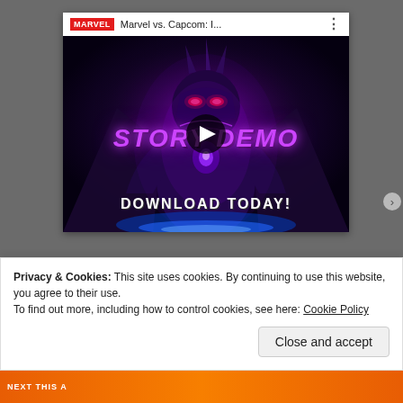[Figure (screenshot): YouTube video embed card showing Marvel vs. Capcom: I... title with Marvel logo. Thumbnail shows a glowing purple villain character with 'STORY DEMO' text in purple and 'DOWNLOAD TODAY!' in white. A play button is centered on the thumbnail.]
Privacy & Cookies: This site uses cookies. By continuing to use this website, you agree to their use.
To find out more, including how to control cookies, see here: Cookie Policy
Close and accept